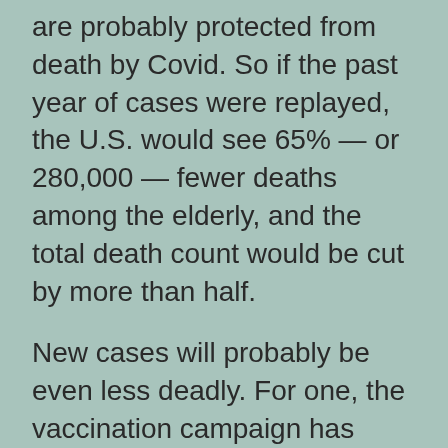are probably protected from death by Covid. So if the past year of cases were replayed, the U.S. would see 65% — or 280,000 — fewer deaths among the elderly, and the total death count would be cut by more than half.
New cases will probably be even less deadly. For one, the vaccination campaign has targeted the most vulnerable among the elderly — people in nursing homes and other group living arrangements — so the distribution of those who get sick will also be skewed younger and healthier now. Also, younger people — and particularly those with